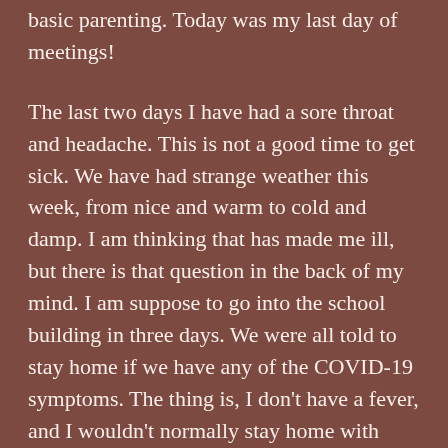basic parenting. Today was my last day of meetings!
The last two days I have had a sore throat and headache. This is not a good time to get sick. We have had strange weather this week, from nice and warm to cold and damp. I am thinking that has made me ill, but there is that question in the back of my mind. I am suppose to go into the school building in three days. We were all told to stay home if we have any of the COVID-19 symptoms. The thing is, I don’t have a fever, and I wouldn’t normally stay home with these symptoms. Wrapping my mind around this new normal is challenging around every corner.
Here are some things that have made me smile over the past couple days...